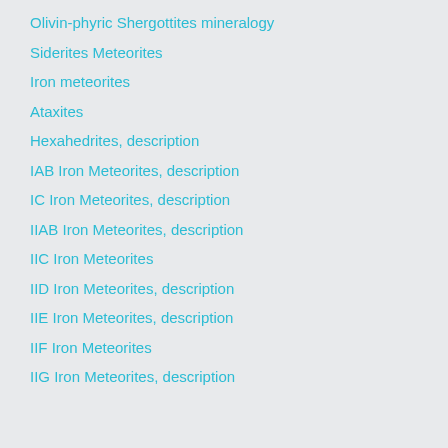Olivin-phyric Shergottites mineralogy
Siderites Meteorites
Iron meteorites
Ataxites
Hexahedrites, description
IAB Iron Meteorites, description
IC Iron Meteorites, description
IIAB Iron Meteorites, description
IIC Iron Meteorites
IID Iron Meteorites, description
IIE Iron Meteorites, description
IIF Iron Meteorites
IIG Iron Meteorites, description